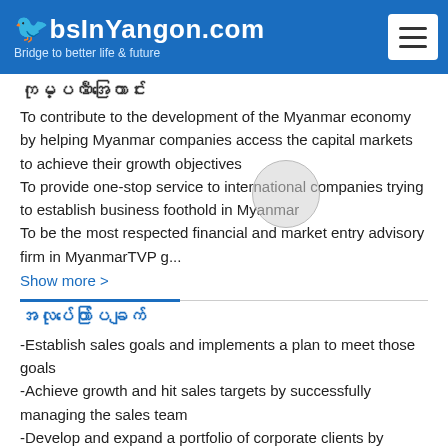JobsInYangon.com — Bridge to better life & future
ကုမ္ပဏီအကြောင်း
To contribute to the development of the Myanmar economy by helping Myanmar companies access the capital markets to achieve their growth objectives
To provide one-stop service to international companies trying to establish business foothold in Myanmar
To be the most respected financial and market entry advisory firm in MyanmarTVP g...
Show more >
အလုပ်တော်ပြချက်
-Establish sales goals and implements a plan to meet those goals
-Achieve growth and hit sales targets by successfully managing the sales team
-Develop and expand a portfolio of corporate clients by networking and marketing
-Prepare sales visits and presentations to pitch product, service, and combination packages to clients...
Show more >